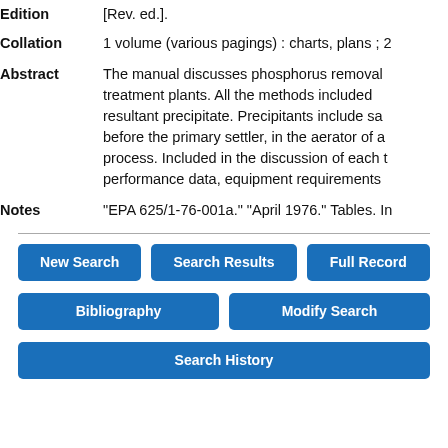| Edition | [Rev. ed.]. |
| Collation | 1 volume (various pagings) : charts, plans ; 2 |
| Abstract | The manual discusses phosphorus removal treatment plants. All the methods included resultant precipitate. Precipitants include sa before the primary settler, in the aerator of a process. Included in the discussion of each t performance data, equipment requirements |
| Notes | "EPA 625/1-76-001a." "April 1976." Tables. In |
New Search
Search Results
Full Record
Bibliography
Modify Search
Search History